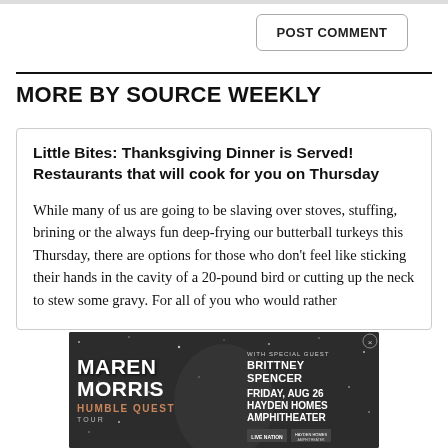POST COMMENT
MORE BY SOURCE WEEKLY
Little Bites: Thanksgiving Dinner is Served! Restaurants that will cook for you on Thursday
While many of us are going to be slaving over stoves, stuffing, brining or the always fun deep-frying our butterball turkeys this Thursday, there are options for those who don't feel like sticking their hands in the cavity of a 20-pound bird or cutting up the neck to stew some gravy. For all of you who would rather
[Figure (advertisement): Maren Morris Humble Quest Tour advertisement featuring Brittney Spencer as special guest, Friday Aug 26, Hayden Homes Amphitheater, with Live Nation logos]